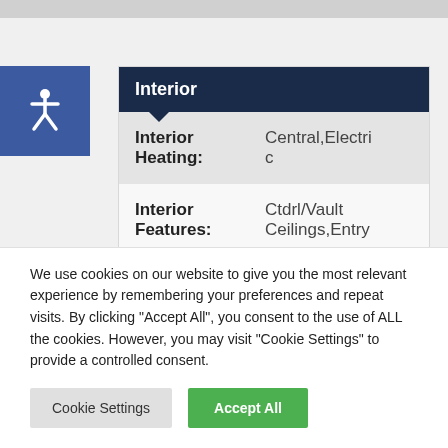Interior
| Field | Value |
| --- | --- |
| Interior Heating: | Central,Electric |
| Interior Features: | Ctdrl/Vault Ceilings,Entry |
We use cookies on our website to give you the most relevant experience by remembering your preferences and repeat visits. By clicking “Accept All”, you consent to the use of ALL the cookies. However, you may visit “Cookie Settings” to provide a controlled consent.
Cookie Settings
Accept All